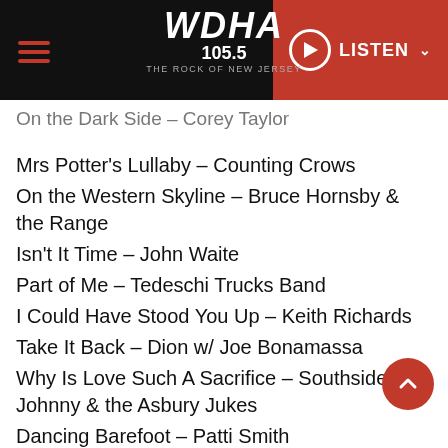WDHA 105.5 THE ROCK OF NEW JERSEY — LISTEN
On the Dark Side – Corey Taylor
Mrs Potter's Lullaby – Counting Crows
On the Western Skyline – Bruce Hornsby & the Range
Isn't It Time – John Waite
Part of Me – Tedeschi Trucks Band
I Could Have Stood You Up – Keith Richards
Take It Back – Dion w/ Joe Bonamassa
Why Is Love Such A Sacrifice – Southside Johnny & the Asbury Jukes
Dancing Barefoot – Patti Smith